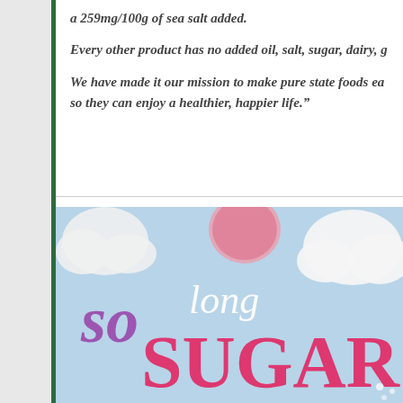a 259mg/100g of sea salt added.
Every other product has no added oil, salt, sugar, dairy, g
We have made it our mission to make pure state foods ea so they can enjoy a healthier, happier life.”
[Figure (illustration): Decorative image with light blue background, white cloud shapes, pink round shape, and stylized text reading 'so long SUGAR' in purple and pink cursive/decorative lettering]